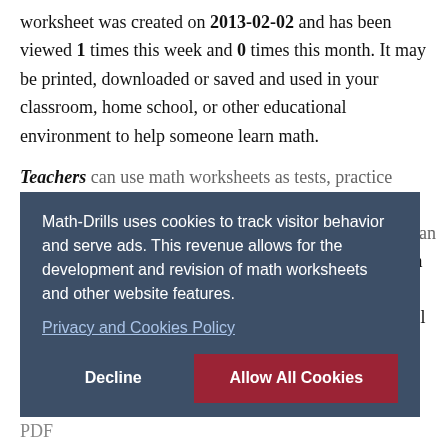worksheet was created on 2013-02-02 and has been viewed 1 times this week and 0 times this month. It may be printed, downloaded or saved and used in your classroom, home school, or other educational environment to help someone learn math.
Teachers can use math worksheets as tests, practice assignments or teaching tools (for example in group work, for scaffolding or in a learning center). Parents can work with their children on math exercises to help them learn numeracy and keep their skills fresh over school holidays and use math worksheets to master a math skill through practice, in a study group or for peer tutoring.
Math-Drills uses cookies to track visitor behavior and serve ads. This revenue allows for the development and revision of math worksheets and other website features.
Privacy and Cookies Policy
Use the buttons below to print, open, or download the PDF